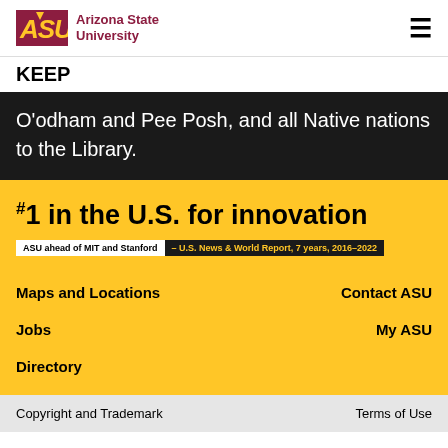ASU Arizona State University
KEEP
O'odham and Pee Posh, and all Native nations to the Library.
[Figure (infographic): #1 in the U.S. for innovation — ASU ahead of MIT and Stanford — U.S. News & World Report, 7 years, 2016–2022]
Maps and Locations
Contact ASU
Jobs
My ASU
Directory
Copyright and Trademark    Terms of Use